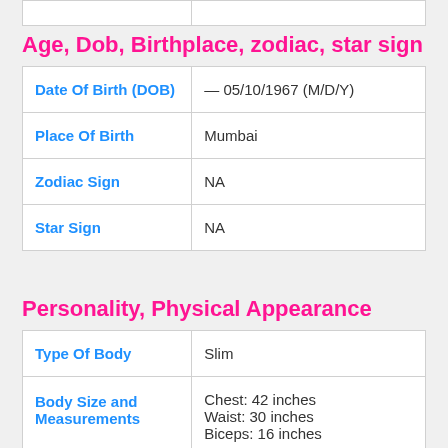Age, Dob, Birthplace, zodiac, star sign
| Field | Value |
| --- | --- |
| Date Of Birth (DOB) | — 05/10/1967 (M/D/Y) |
| Place Of Birth | Mumbai |
| Zodiac Sign | NA |
| Star Sign | NA |
Personality, Physical Appearance
| Field | Value |
| --- | --- |
| Type Of Body | Slim |
| Body Size and Measurements | Chest: 42 inches
Waist: 30 inches
Biceps: 16 inches |